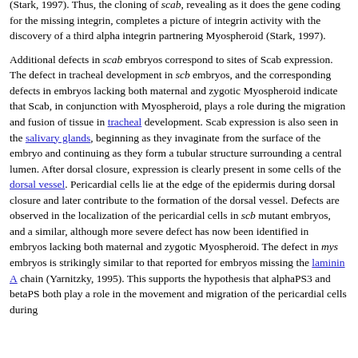(Stark, 1997). Thus, the cloning of scab, revealing as it does the gene coding for the missing integrin, completes a picture of integrin activity with the discovery of a third alpha integrin partnering Myospheroid (Stark, 1997).
Additional defects in scab embryos correspond to sites of Scab expression. The defect in tracheal development in scb embryos, and the corresponding defects in embryos lacking both maternal and zygotic Myospheroid indicate that Scab, in conjunction with Myospheroid, plays a role during the migration and fusion of tissue in tracheal development. Scab expression is also seen in the salivary glands, beginning as they invaginate from the surface of the embryo and continuing as they form a tubular structure surrounding a central lumen. After dorsal closure, expression is clearly present in some cells of the dorsal vessel. Pericardial cells lie at the edge of the epidermis during dorsal closure and later contribute to the formation of the dorsal vessel. Defects are observed in the localization of the pericardial cells in scb mutant embryos, and a similar, although more severe defect has now been identified in embryos lacking both maternal and zygotic Myospheroid. The defect in mys embryos is strikingly similar to that reported for embryos missing the laminin A chain (Yarnitzky, 1995). This supports the hypothesis that alphaPS3 and betaPS both play a role in the movement and migration of the pericardial cells during